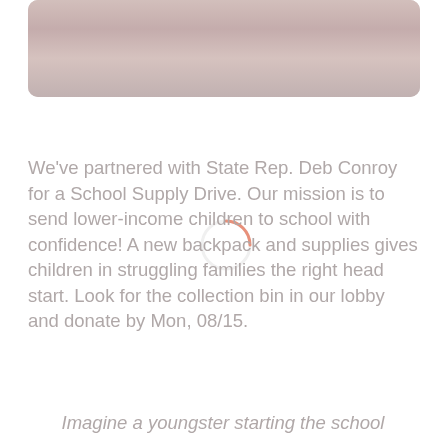[Figure (photo): Photo of people at a school supply drive event, showing individuals in colorful attire]
We've partnered with State Rep. Deb Conroy for a School Supply Drive. Our mission is to send lower-income children to school with confidence! A new backpack and supplies gives children in struggling families the right head start. Look for the collection bin in our lobby and donate by Mon, 08/15.
Imagine a youngster starting the school